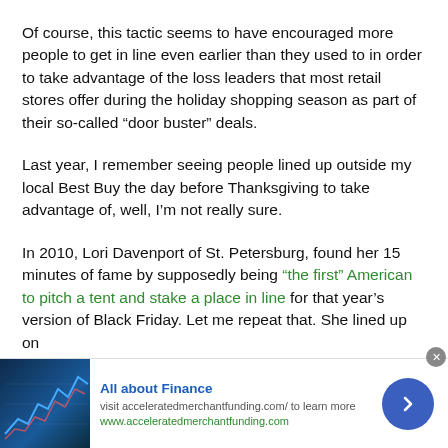Of course, this tactic seems to have encouraged more people to get in line even earlier than they used to in order to take advantage of the loss leaders that most retail stores offer during the holiday shopping season as part of their so-called “door buster” deals.
Last year, I remember seeing people lined up outside my local Best Buy the day before Thanksgiving to take advantage of, well, I’m not really sure.
In 2010, Lori Davenport of St. Petersburg, found her 15 minutes of fame by supposedly being “the first” American to pitch a tent and stake a place in line for that year’s version of Black Friday. Let me repeat that. She lined up on
[Figure (infographic): Advertisement banner for 'All about Finance' with a stock market image on the left, text in the center reading 'All about Finance', 'visit acceleratedmerchantfunding.com/ to learn more', 'www.acceleratedmerchantfunding.com', and a blue circular arrow button on the right. A small close (x) button appears at top right.]